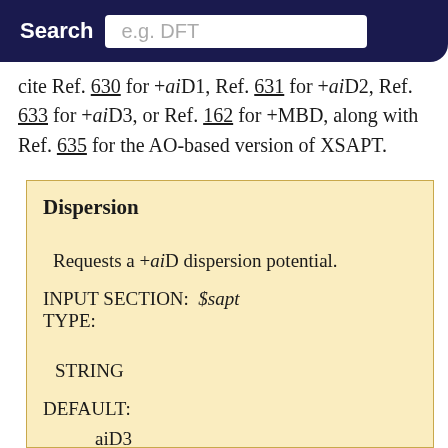Search  e.g. DFT   ed to
cite Ref. 630 for +aiD1, Ref. 631 for +aiD2, Ref. 633 for +aiD3, or Ref. 162 for +MBD, along with Ref. 635 for the AO-based version of XSAPT.
Dispersion
Requests a +aiD dispersion potential.
INPUT SECTION:  $sapt
TYPE:
STRING
DEFAULT:
aiD3